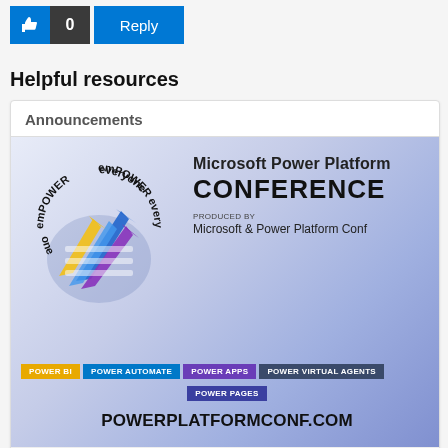[Figure (infographic): Like/thumbs-up button (blue), count badge showing 0 (dark), Reply button (blue)]
Helpful resources
Announcements
[Figure (illustration): Microsoft Power Platform Conference banner with emPOWER everyone logo, colorful arrows, produced by Microsoft & Power Platform Conf, tag strips for POWER BI, POWER AUTOMATE, POWER APPS, POWER VIRTUAL AGENTS, POWER PAGES, and URL POWERPLATFORMCONF.COM]
SEPTEMBER 20-22, 2022 | Loews Royal Pacific Resort, Orlando, FL